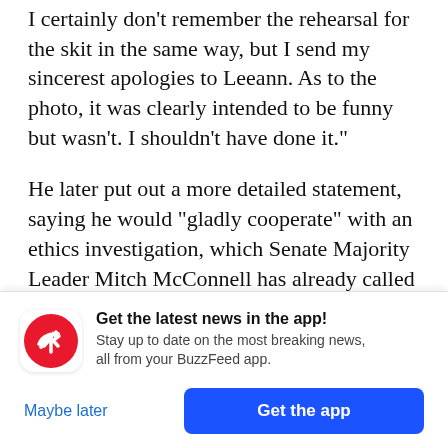I certainly don't remember the rehearsal for the skit in the same way, but I send my sincerest apologies to Leeann. As to the photo, it was clearly intended to be funny but wasn't. I shouldn't have done it."
He later put out a more detailed statement, saying he would "gladly cooperate" with an ethics investigation, which Senate Majority Leader Mitch McConnell has already called for. He also apologized and said he understands "why we need to listen to and believe women's experiences"
[Figure (screenshot): BuzzFeed app notification banner with red circular icon showing a white upward-right arrow, text 'Get the latest news in the app! Stay up to date on the most breaking news, all from your BuzzFeed app.' with 'Maybe later' and 'Get the app' buttons.]